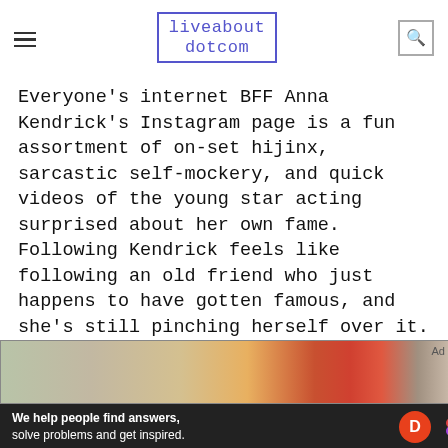liveabout dotcom
Everyone's internet BFF Anna Kendrick's Instagram page is a fun assortment of on-set hijinx, sarcastic self-mockery, and quick videos of the young star acting surprised about her own fame.  Following Kendrick feels like following an old friend who just happens to have gotten famous, and she's still pinching herself over it.
13 | Kids Are The Worst
[Figure (photo): Cropped bottom portion of a webpage showing a product shelf photo with an advertisement banner from Dotdash Meredith at the bottom reading 'We help people find answers, solve problems and get inspired.']